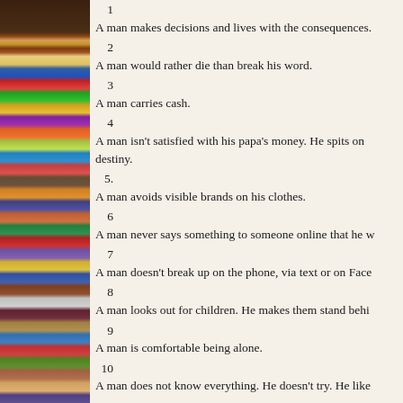1  A man makes decisions and lives with the consequences.
2  A man would rather die than break his word.
3  A man carries cash.
4  A man isn't satisfied with his papa's money. He spits on destiny.
5.  A man avoids visible brands on his clothes.
6  A man never says something to someone online that he w...
7  A man doesn't break up on the phone, via text or on Face...
8  A man looks out for children. He makes them stand behi...
9  A man is comfortable being alone.
10  A man does not know everything. He doesn't try. He like...
Sources: The Art of Manliness (artofmanliness.com), AskMe (askmen.com) and Esquire magazine's What Is a Man? by T
at July 25, 2011  6 comments:
Sunday, July 24, 2011
Sunday Wrap-up